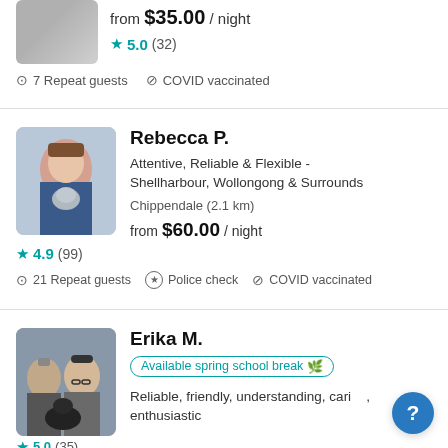[Figure (photo): Partial profile photo of first sitter (top, cropped)]
from $35.00 / night
★ 5.0 (32)
7 Repeat guests   COVID vaccinated
[Figure (photo): Profile photo of Rebecca P. holding a grey cat]
Rebecca P.
Attentive, Reliable & Flexible - Shellharbour, Wollongong & Surrounds
Chippendale (2.1 km)
★ 4.9 (99)
from $60.00 / night
21 Repeat guests   Police check   COVID vaccinated
[Figure (photo): Profile photo of Erika M. with a man and a black dog]
Erika M.
Available spring school break 🌿
Reliable, friendly, understanding, caring, enthusiastic
★ 5.0 (35)